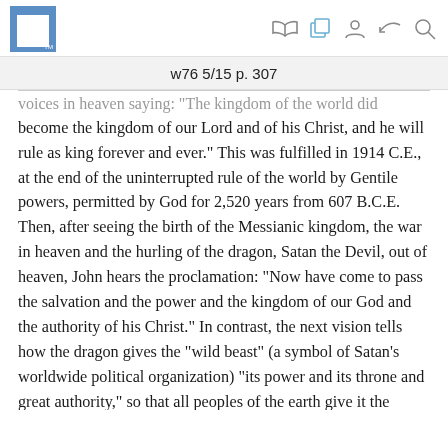w76 5/15 p. 307
voices in heaven saying: "The kingdom of the world did become the kingdom of our Lord and of his Christ, and he will rule as king forever and ever." This was fulfilled in 1914 C.E., at the end of the uninterrupted rule of the world by Gentile powers, permitted by God for 2,520 years from 607 B.C.E. Then, after seeing the birth of the Messianic kingdom, the war in heaven and the hurling of the dragon, Satan the Devil, out of heaven, John hears the proclamation: “Now have come to pass the salvation and the power and the kingdom of our God and the authority of his Christ.” In contrast, the next vision tells how the dragon gives the “wild beast” (a symbol of Satan’s worldwide political organization) “its power and its throne and great authority,” so that all peoples of the earth give it the worship. Similar authority and worship are further